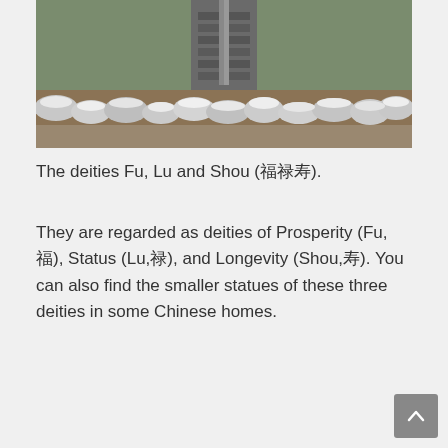[Figure (photo): Outdoor scene showing stone steps and rock border, likely a garden or memorial site, with snow or frost visible on rocks.]
The deities Fu, Lu and Shou (福禄寿).
They are regarded as deities of Prosperity (Fu,福), Status (Lu,禄), and Longevity (Shou,寿). You can also find the smaller statues of these three deities in some Chinese homes.